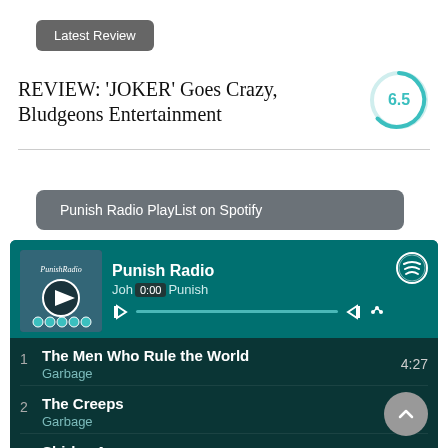Latest Review
REVIEW: 'JOKER' Goes Crazy, Bludgeons Entertainment
[Figure (infographic): Circular score indicator showing 6.5, teal/cyan ring on white background]
Punish Radio PlayList on Spotify
[Figure (screenshot): Spotify embedded player widget showing Punish Radio playlist on teal/dark teal background. Album art on left, track controls, and tracklist: 1. The Men Who Rule the World - Garbage 4:27, 2. The Creeps - Garbage, 3. Shirley Ann - Johnny Punish 3:49]